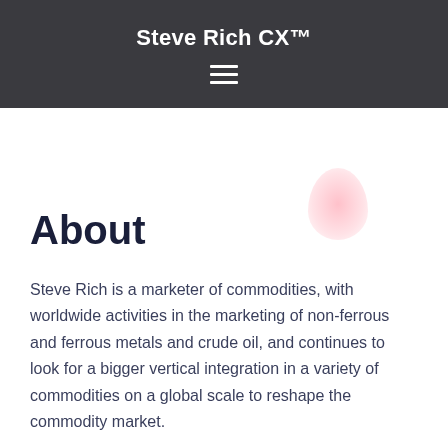Steve Rich CX™
About
Steve Rich is a marketer of commodities, with worldwide activities in the marketing of non-ferrous and ferrous metals and crude oil, and continues to look for a bigger vertical integration in a variety of commodities on a global scale to reshape the commodity market.